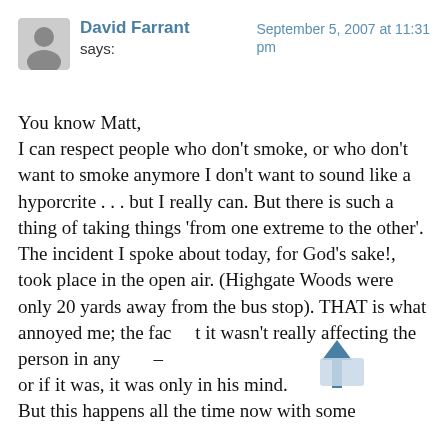David Farrant says: September 5, 2007 at 11:31 pm
You know Matt,
I can respect people who don't smoke, or who don't want to smoke anymore I don't want to sound like a hyporcrite . . . but I really can. But there is such a thing of taking things 'from one extreme to the other'.
The incident I spoke about today, for God's sake!, took place in the open air. (Highgate Woods were only 20 yards away from the bus stop). THAT is what annoyed me; the fac t it wasn't really affecting the person in any – or if it was, it was only in his mind.
But this happens all the time now with some